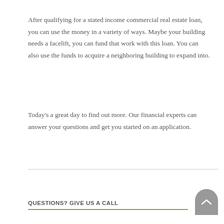After qualifying for a stated income commercial real estate loan, you can use the money in a variety of ways. Maybe your building needs a facelift, you can fund that work with this loan. You can also use the funds to acquire a neighboring building to expand into.
Today’s a great day to find out more. Our financial experts can answer your questions and get you started on an application.
QUESTIONS? GIVE US A CALL